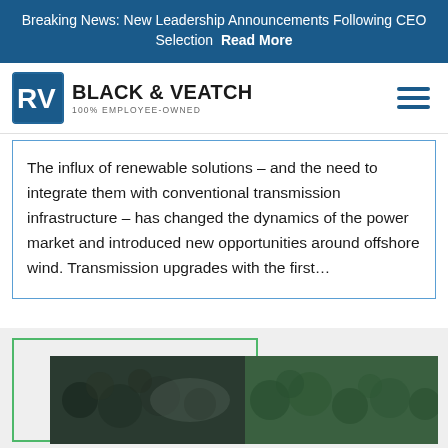Breaking News: New Leadership Announcements Following CEO Selection Read More
[Figure (logo): Black & Veatch logo — BV icon in blue square, company name and 100% Employee-Owned tagline, with hamburger menu icon on right]
The influx of renewable solutions – and the need to integrate them with conventional transmission infrastructure – has changed the dynamics of the power market and introduced new opportunities around offshore wind. Transmission upgrades with the first...
[Figure (photo): Aerial photograph of dense green forest with misty atmosphere, shown in a card with green border outline]